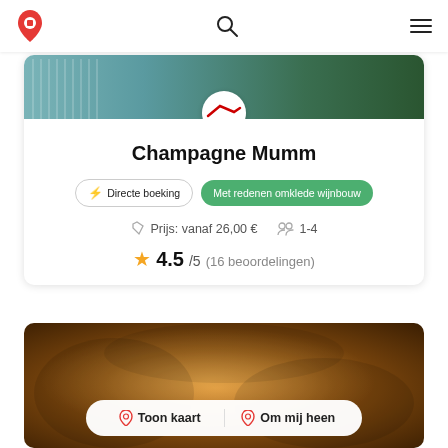Navigation bar with logo, search and menu icons
[Figure (screenshot): Champagne Mumm winery header image with building and logo badge]
Champagne Mumm
⚡ Directe boeking   Met redenen omklede wijnbouw
Prijs: vanaf 26,00 €   1-4
4.5/5  (16 beoordelingen)
[Figure (photo): Cave/cellar interior with warm orange light — showing two location buttons: Toon kaart and Om mij heen]